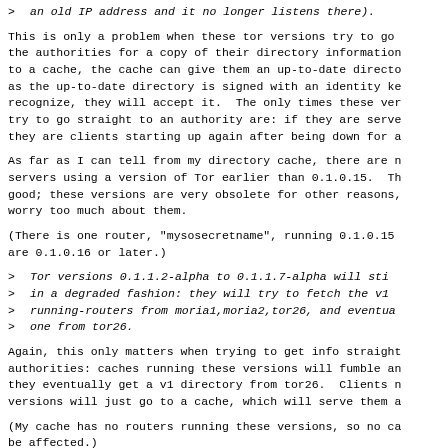> an old IP address and it no longer listens there).
This is only a problem when these tor versions try to go the authorities for a copy of their directory information to a cache, the cache can give them an up-to-date directo as the up-to-date directory is signed with an identity ke recognize, they will accept it. The only times these ver try to go straight to an authority are: if they are serve they are clients starting up again after being down for a
As far as I can tell from my directory cache, there are n servers using a version of Tor earlier than 0.1.0.15. Th good; these versions are very obsolete for other reasons, worry too much about them.
(There is one router, "mysosecretname", running 0.1.0.15 are 0.1.0.16 or later.)
> Tor versions 0.1.1.2-alpha to 0.1.1.7-alpha will sti
> in a degraded fashion: they will try to fetch the v1
> running-routers from moria1,moria2,tor26, and eventua
> one from tor26.
Again, this only matters when trying to get info straight authorities: caches running these versions will fumble an they eventually get a v1 directory from tor26. Clients n versions will just go to a cache, which will serve them a
(My cache has no routers running these versions, so no ca be affected.)